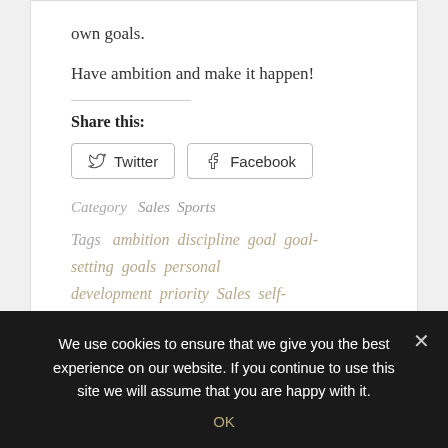own goals.
Have ambition and make it happen!
Share this:
Twitter Facebook
Category   Sales   Sports
Tags   ambition   discipline   goal   goal-setting   goals   personal development   priority   Sales   self-drive   Sports   training
We use cookies to ensure that we give you the best experience on our website. If you continue to use this site we will assume that you are happy with it.
OK